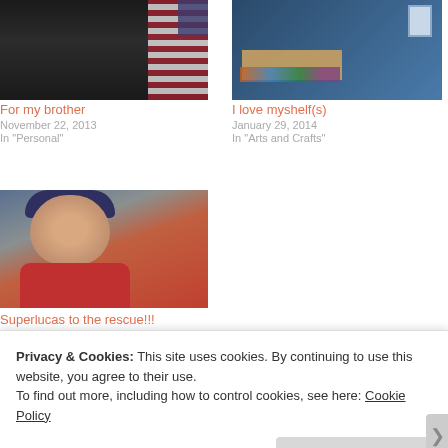[Figure (photo): Military soldier in black dress uniform with medals and ribbons, standing in front of an American flag]
[Figure (photo): Room interior with dark blue wall, window, and shelf with various toys and objects]
For my brother
November 22, 2013
In "Personal"
I love myshelf(s)
January 29, 2014
In "Arts and Crafts"
[Figure (photo): Young boy wearing a dark cap and red shirt, smiling at the camera]
Superlucas to the rescue!!!
May 9, 2014
Privacy & Cookies: This site uses cookies. By continuing to use this website, you agree to their use. To find out more, including how to control cookies, see here: Cookie Policy
Close and accept